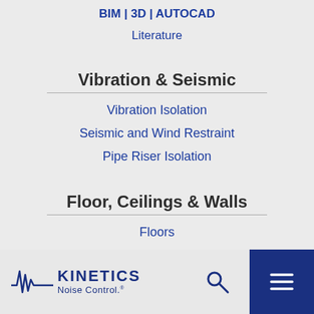BIM | 3D | AUTOCAD
Literature
Vibration & Seismic
Vibration Isolation
Seismic and Wind Restraint
Pipe Riser Isolation
Floor, Ceilings & Walls
Floors
Ceilings
Walls
Kinetics Noise Control